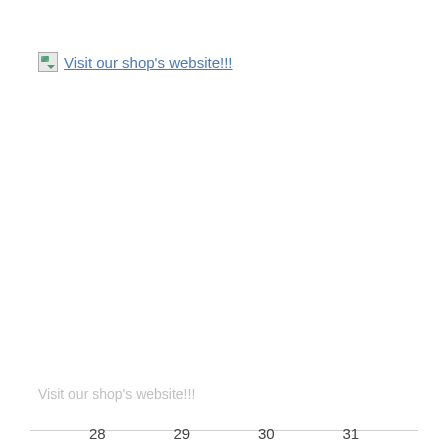[Figure (other): Broken image icon followed by link text 'Visit our shop's website!!!']
Visit our shop's website!!!
AUGUST 2022
Privacy & Cookies: This site uses cookies. By continuing to use this website, you agree to their use.
To find out more, including how to control cookies, see here: Cookie Policy
Close and accept
28   29   30   31